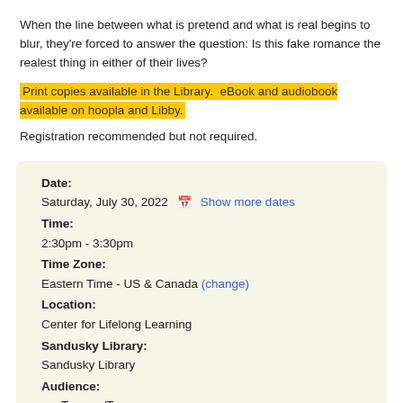When the line between what is pretend and what is real begins to blur, they're forced to answer the question: Is this fake romance the realest thing in either of their lives?
Print copies available in the Library.  eBook and audiobook available on hoopla and Libby.
Registration recommended but not required.
| Date: |  |
| Saturday, July 30, 2022 | Show more dates |
| Time: |  |
| 2:30pm - 3:30pm |  |
| Time Zone: |  |
| Eastern Time - US & Canada (change) |  |
| Location: |  |
| Center for Lifelong Learning |  |
| Sandusky Library: |  |
| Sandusky Library |  |
| Audience: |  |
| Tweens/Teens |  |
| Categories: |  |
| Tweens/Teens Programs |  |